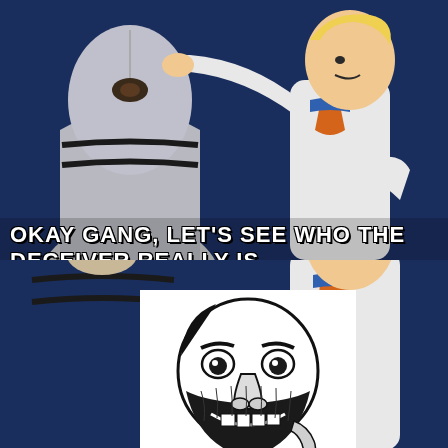[Figure (illustration): Scooby-Doo meme in two panels. Top panel: Fred (cartoon character) unmasking a hooded/masked figure tied with rope, against dark blue background. Text overlay reads 'OKAY GANG, LET'S SEE WHO THE DECEIVER REALLY IS.' Bottom panel: Fred holds up the removed mask/hood revealing a black-and-white caricature illustration of a menacing face with exaggerated features, beard, and wide grin.]
OKAY GANG, LET'S SEE WHO THE DECEIVER REALLY IS.